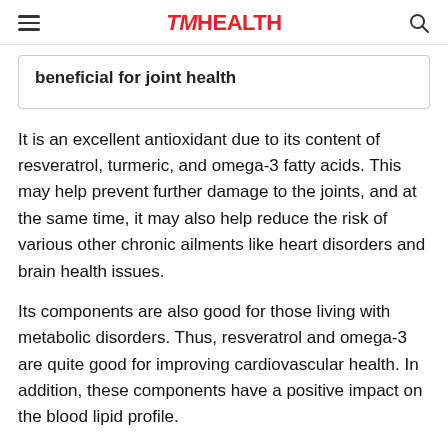TM HEALTH
beneficial for joint health
It is an excellent antioxidant due to its content of resveratrol, turmeric, and omega-3 fatty acids. This may help prevent further damage to the joints, and at the same time, it may also help reduce the risk of various other chronic ailments like heart disorders and brain health issues.
Its components are also good for those living with metabolic disorders. Thus, resveratrol and omega-3 are quite good for improving cardiovascular health. In addition, these components have a positive impact on the blood lipid profile.
Many people use curcumin for joint disorders to suppress inflammation and reduce pain. However, this